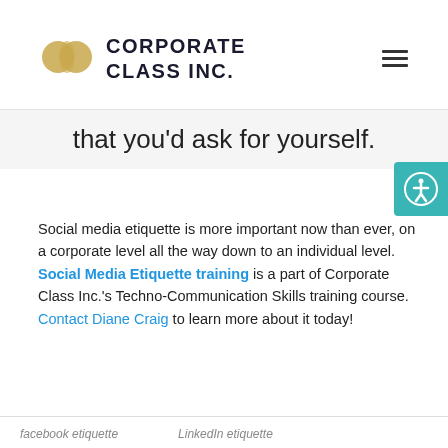CORPORATE CLASS INC.
that you'd ask for yourself.
Social media etiquette is more important now than ever, on a corporate level all the way down to an individual level. Social Media Etiquette training is a part of Corporate Class Inc.'s Techno-Communication Skills training course. Contact Diane Craig to learn more about it today!
facebook etiquette   linkedin etiquette